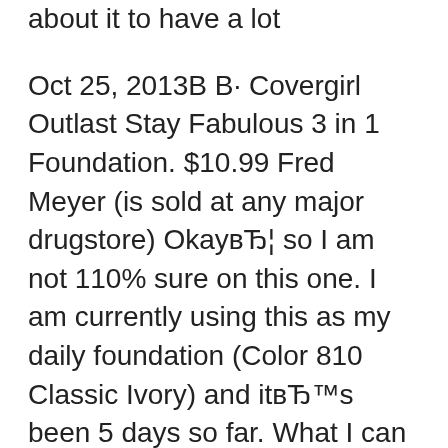about it to have a lot
Oct 25, 2013В В· Covergirl Outlast Stay Fabulous 3 in 1 Foundation. $10.99 Fred Meyer (is sold at any major drugstore) OkayвЂ¦ so I am not 110% sure on this one. I am currently using this as my daily foundation (Color 810 Classic Ivory) and itвЂ™s been 5 days so far. What I can tell you about this product isвЂ¦.. I have VERY oily skin in my T-zone. Jun 21, 2013В В· Review of CoverGirl OutLast Stay Fabulous 3 in 1 Foundation CoverGirl Outlast Stay Fabulous 3 in 1 Foundation in Medium Beige. Claims: All-Day Fabulous Coverage. Lasting Power of a Primer, Coverage of a Concealer, and